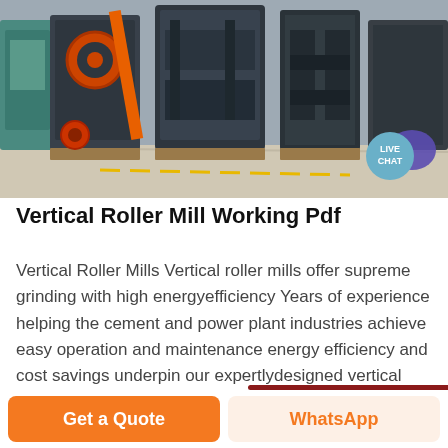[Figure (photo): Industrial machinery / vertical roller mill equipment in a factory setting. Heavy dark grey machines on a warehouse floor. Live Chat badge visible in bottom-right corner of image.]
Vertical Roller Mill Working Pdf
Vertical Roller Mills Vertical roller mills offer supreme grinding with high energyefficiency Years of experience helping the cement and power plant industries achieve easy operation and maintenance energy efficiency and cost savings underpin our expertlydesigned vertical roller mill VRM product range.